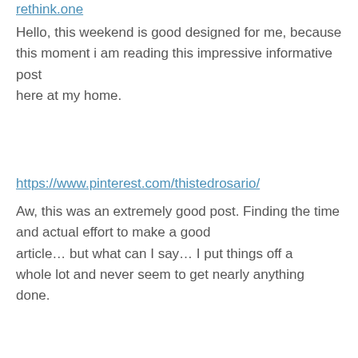rethink.one
Hello, this weekend is good designed for me, because this moment i am reading this impressive informative post here at my home.
https://www.pinterest.com/thistedrosario/
Aw, this was an extremely good post. Finding the time and actual effort to make a good article… but what can I say… I put things off a whole lot and never seem to get nearly anything done.